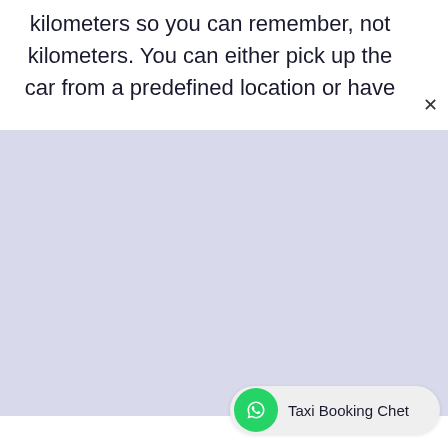kilometers so you can remember, not kilometers. You can either pick up the car from a predefined location or have
[Figure (screenshot): Large light lavender/blue blank area occupying the middle and lower portion of the page]
[Figure (infographic): WhatsApp chat widget button with green WhatsApp icon and label 'Taxi Booking Chet' on a light grey rounded pill background]